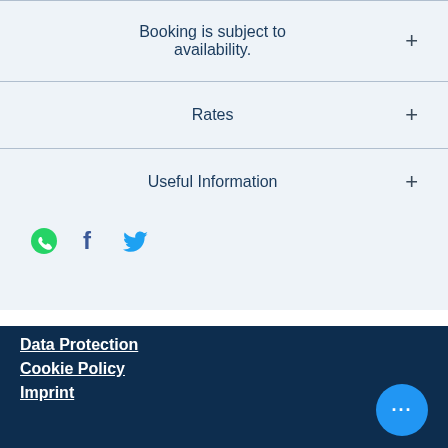Booking is subject to availability.
Rates
Useful Information
[Figure (infographic): Social share icons: WhatsApp (green), Facebook (blue-gray), Twitter (blue)]
Data Protection
Cookie Policy
Imprint